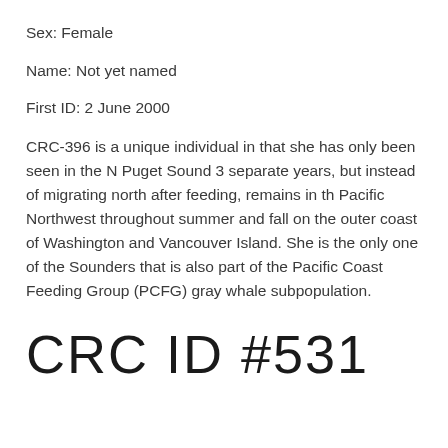Sex: Female
Name: Not yet named
First ID: 2 June 2000
CRC-396 is a unique individual in that she has only been seen in the N Puget Sound 3 separate years, but instead of migrating north after feeding, remains in th Pacific Northwest throughout summer and fall on the outer coast of Washington and Vancouver Island. She is the only one of the Sounders that is also part of the Pacific Coast Feeding Group (PCFG) gray whale subpopulation.
CRC ID #531